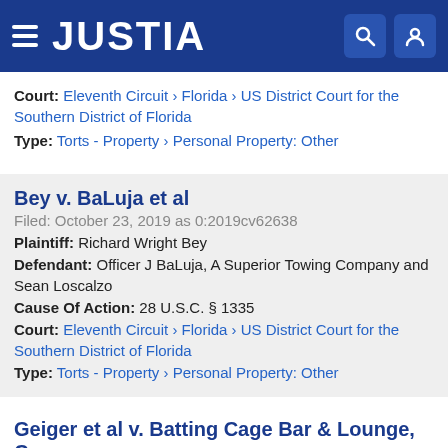JUSTIA
Court: Eleventh Circuit › Florida › US District Court for the Southern District of Florida
Type: Torts - Property › Personal Property: Other
Bey v. BaLuja et al
Filed: October 23, 2019 as 0:2019cv62638
Plaintiff: Richard Wright Bey
Defendant: Officer J BaLuja, A Superior Towing Company and Sean Loscalzo
Cause Of Action: 28 U.S.C. § 1335
Court: Eleventh Circuit › Florida › US District Court for the Southern District of Florida
Type: Torts - Property › Personal Property: Other
Geiger et al v. Batting Cage Bar & Lounge, Corp.
Filed: October 23, 2019 as 1:2019cv24391